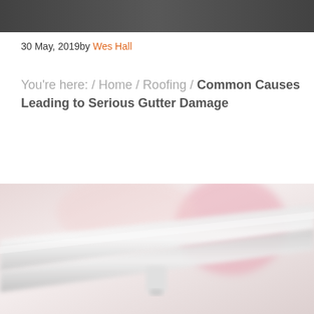[Figure (photo): Dark header photo showing blurred figures in the background]
30 May, 2019by Wes Hall
You're here: / Home / Roofing / Common Causes Leading to Serious Gutter Damage
[Figure (photo): Close-up blurred photo of white roof gutter/eave detail with soft pink background]